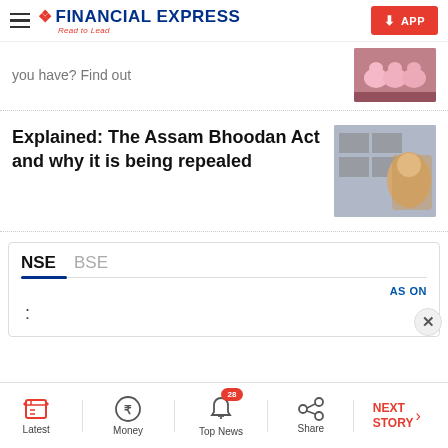Financial Express — Read to Lead
you have? Find out
Explained: The Assam Bhoodan Act and why it is being repealed
[Figure (screenshot): Financial market widget showing NSE and BSE tabs with AS ON timestamp and a colon]
Latest | Money | Top News (28) | Share | NEXT STORY